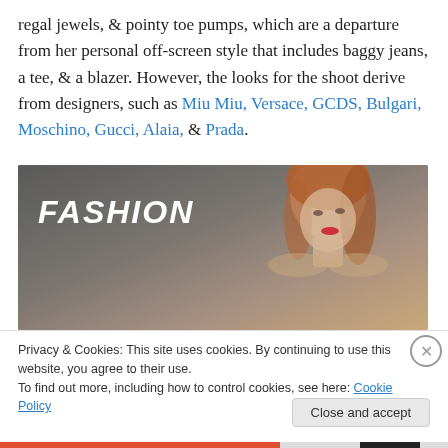regal jewels, & pointy toe pumps, which are a departure from her personal off-screen style that includes baggy jeans, a tee, & a blazer. However, the looks for the shoot derive from designers, such as Miu Miu, Versace, GCDS, Bulgari, Moschino, Gucci, Alaia, & Prada.
[Figure (photo): Fashion magazine banner photo showing a young woman with red hair and red lips against a gray background, with 'FASHION' text in white bold italic font on the left side]
Privacy & Cookies: This site uses cookies. By continuing to use this website, you agree to their use.
To find out more, including how to control cookies, see here: Cookie Policy
Close and accept